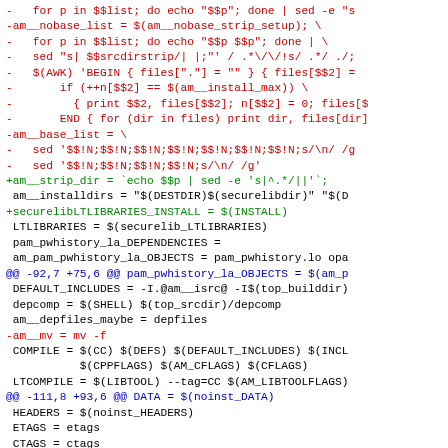Code diff showing changes to Makefile build scripts including am__nobase_list, am__strip_dir, securelibLTLIBRARIES_INSTALL, pam_pwhistory build variables, and compilation settings